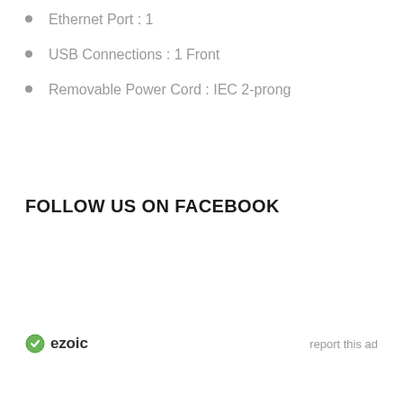Ethernet Port : 1
USB Connections : 1 Front
Removable Power Cord : IEC 2-prong
FOLLOW US ON FACEBOOK
ezoic   report this ad